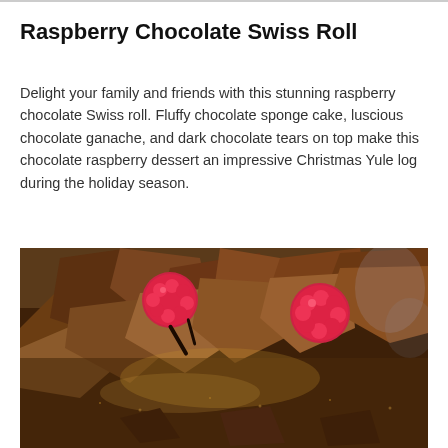Raspberry Chocolate Swiss Roll
Delight your family and friends with this stunning raspberry chocolate Swiss roll. Fluffy chocolate sponge cake, luscious chocolate ganache, and dark chocolate tears on top make this chocolate raspberry dessert an impressive Christmas Yule log during the holiday season.
[Figure (photo): Close-up photo of a Raspberry Chocolate Swiss Roll decorated with chocolate shards and fresh raspberries on top, dusted with cocoa powder.]